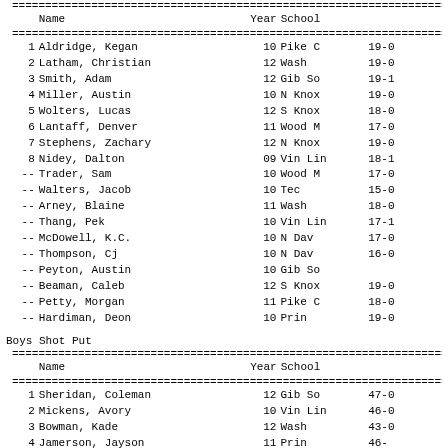|  | Name | Year | School | Result |
| --- | --- | --- | --- | --- |
| 1 | Aldridge, Kegan | 10 | Pike C | 19-0 |
| 2 | Latham, Christian | 12 | Wash | 19-0 |
| 3 | Smith, Adam | 12 | Gib So | 19-1 |
| 4 | Miller, Austin | 10 | N Knox | 19-0 |
| 5 | Wolters, Lucas | 12 | S Knox | 18-0 |
| 6 | Lantaff, Denver | 11 | Wood M | 17-0 |
| 7 | Stephens, Zachary | 12 | N Knox | 19-0 |
| 8 | Nidey, Dalton | 09 | Vin Lin | 18-1 |
| -- | Trader, Sam | 10 | Wood M | 17-0 |
| -- | Walters, Jacob | 10 | Tec | 15-0 |
| -- | Arney, Blaine | 11 | Wash | 18-0 |
| -- | Thang, Pek | 10 | Vin Lin | 17-1 |
| -- | McDowell, K.C. | 10 | N Dav | 17-0 |
| -- | Thompson, Cj | 10 | N Dav | 16-0 |
| -- | Peyton, Austin | 10 | Gib So |  |
| -- | Beaman, Caleb | 12 | S Knox | 19-0 |
| -- | Petty, Morgan | 11 | Pike C | 18-0 |
| -- | Hardiman, Deon | 10 | Prin | 19-0 |
Boys Shot Put
|  | Name | Year | School | Result |
| --- | --- | --- | --- | --- |
| 1 | Sheridan, Coleman | 12 | Gib So | 47-0 |
| 2 | Mickens, Avory | 10 | Vin Lin | 46-0 |
| 3 | Bowman, Kade | 12 | Wash | 43-0 |
| 4 | Jamerson, Jayson | 11 | Prin | 46- |